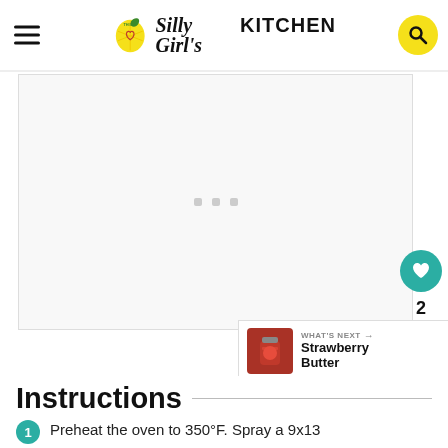This Silly Girl's KITCHEN
[Figure (photo): Loading placeholder for a recipe photo — white/light grey background with three small grey square dots indicating loading state]
[Figure (other): WHAT'S NEXT → Strawberry Butter promotional thumbnail with a jar of strawberry butter]
Instructions
Preheat the oven to 350°F. Spray a 9x13…